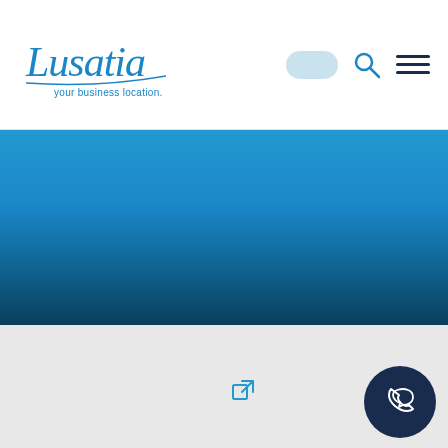[Figure (logo): Lusatia – your business location. logo with stylized script text in blue]
[Figure (screenshot): Navigation bar with language toggle button, search icon, and hamburger menu icon]
[Figure (photo): Blue gradient hero banner background, transitioning from bright blue at top to dark teal/navy at bottom]
[Figure (screenshot): Light grey empty content area below the hero banner]
[Figure (other): External link icon (square with arrow) in blue]
[Figure (other): Dark navy circular button with phone/chat icon in white at bottom right]